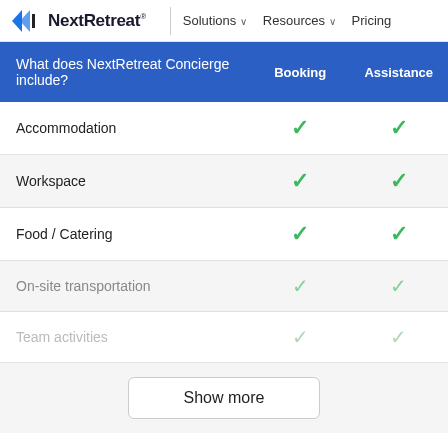NextRetreat® | Solutions ∨  Resources ∨  Pricing
| What does NextRetreat Concierge include? | Booking | Assistance |
| --- | --- | --- |
| Accommodation | ✓ | ✓ |
| Workspace | ✓ | ✓ |
| Food / Catering | ✓ | ✓ |
| On-site transportation | ✓ | ✓ |
| Team activities | ✓ | ✓ |
Show more
About cookies on this site
We use cookies to ensure that we give you the best experience. Learn more